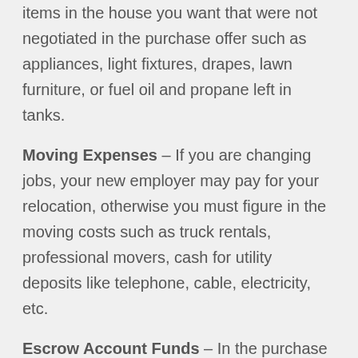items in the house you want that were not negotiated in the purchase offer such as appliances, light fixtures, drapes, lawn furniture, or fuel oil and propane left in tanks.
Moving Expenses – If you are changing jobs, your new employer may pay for your relocation, otherwise you must figure in the moving costs such as truck rentals, professional movers, cash for utility deposits like telephone, cable, electricity, etc.
Escrow Account Funds – In the purchase offer, you can request that the seller set up an Escrow Account to defray any costs for major